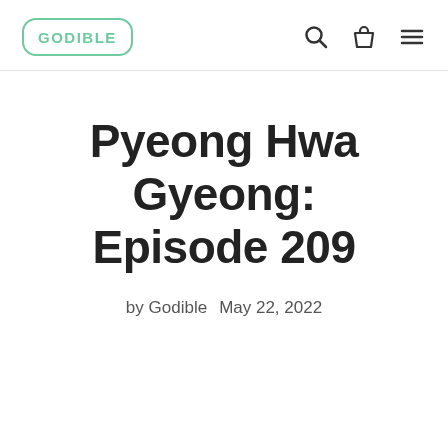GODIBLE
Pyeong Hwa Gyeong: Episode 209
by Godible   May 22, 2022